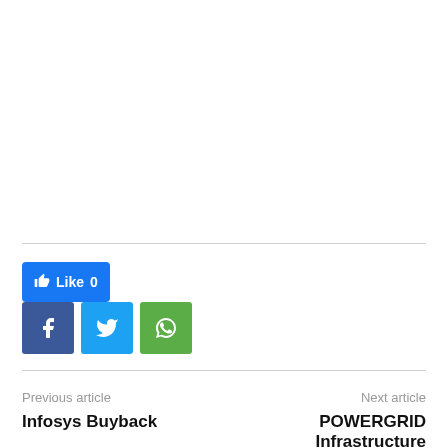[Figure (other): Facebook Like button showing count 0]
[Figure (other): Social share buttons: Facebook (f), Twitter (bird icon), WhatsApp (phone icon)]
Previous article
Next article
Infosys Buyback
POWERGRID Infrastructure Investment Trust InvIT